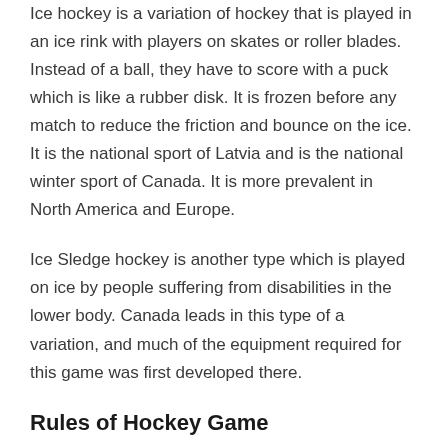Ice hockey is a variation of hockey that is played in an ice rink with players on skates or roller blades. Instead of a ball, they have to score with a puck which is like a rubber disk. It is frozen before any match to reduce the friction and bounce on the ice. It is the national sport of Latvia and is the national winter sport of Canada. It is more prevalent in North America and Europe.
Ice Sledge hockey is another type which is played on ice by people suffering from disabilities in the lower body. Canada leads in this type of a variation, and much of the equipment required for this game was first developed there.
Rules of Hockey Game